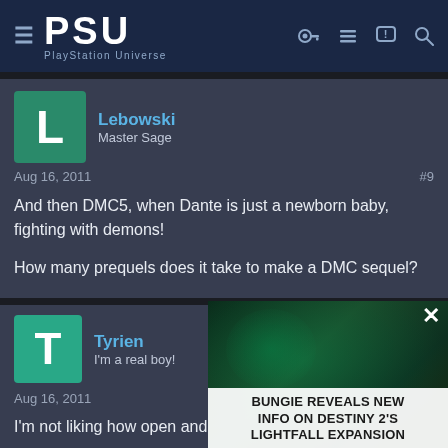PSU - PlayStation Universe
Lebowski
Master Sage
Aug 16, 2011  #9
And then DMC5, when Dante is just a newborn baby, fighting with demons!

How many prequels does it take to make a DMC sequel?
Tyrien
I'm a real boy!
Aug 16, 2011
I'm not liking how open and bland the env
[Figure (screenshot): Ad overlay: dark green game background with text 'BUNGIE REVEALS NEW INFO ON DESTINY 2'S LIGHTFALL EXPANSION']
Bio
Veteran